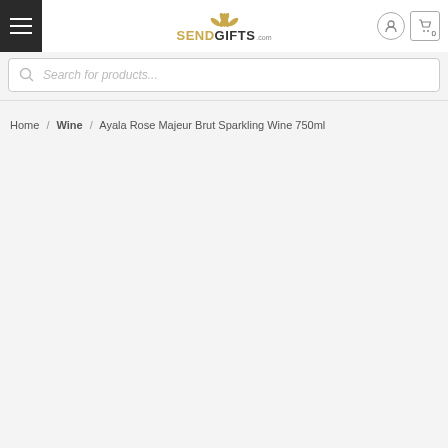SENDGIFTS.com — navigation header with menu button, logo, user icon, and cart (0)
Search for products...
Home / Wine / Ayala Rose Majeur Brut Sparkling Wine 750ml